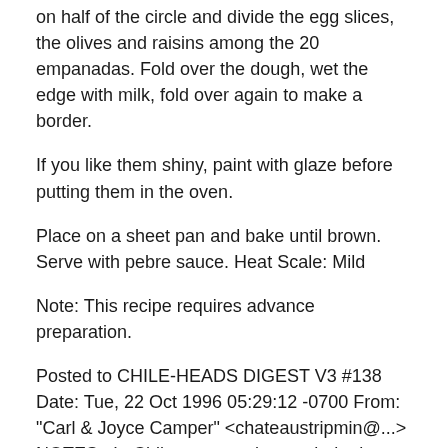on half of the circle and divide the egg slices, the olives and raisins among the 20 empanadas. Fold over the dough, wet the edge with milk, fold over again to make a border.
If you like them shiny, paint with glaze before putting them in the oven.
Place on a sheet pan and bake until brown. Serve with pebre sauce. Heat Scale: Mild
Note: This recipe requires advance preparation.
Posted to CHILE-HEADS DIGEST V3 #138 Date: Tue, 22 Oct 1996 05:29:12 -0700 From: "Carl & Joyce Camper" <chateaustripmin@...> NOTES : In Chile, empanadas are baked rather than fried, as they are in other Latin countries. To increase the heat add pebre sauce.